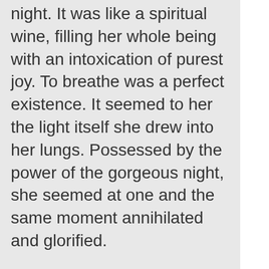night. It was like a spiritual wine, filling her whole being with an intoxication of purest joy. To breathe was a perfect existence. It seemed to her the light itself she drew into her lungs. Possessed by the power of the gorgeous night, she seemed at one and the same moment annihilated and glorified.

She was in the open passage or gallery that ran around the top of the garden walls, between the cleft battlements, but she did not once look down to see what lay beneath. Her soul was drawn to the vault above her with its lamp and its endless room. At last she burst into tears, and her heart was relieved, as the night